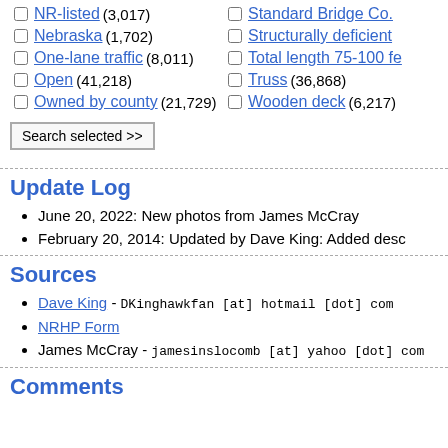NR-listed (3,017)
Nebraska (1,702)
One-lane traffic (8,011)
Open (41,218)
Owned by county (21,729)
Standard Bridge Co.
Structurally deficient
Total length 75-100 fe
Truss (36,868)
Wooden deck (6,217)
Search selected >>
Update Log
June 20, 2022: New photos from James McCray
February 20, 2014: Updated by Dave King: Added desc
Sources
Dave King - DKinghawkfan [at] hotmail [dot] com
NRHP Form
James McCray - jamesinslocomb [at] yahoo [dot] com
Comments